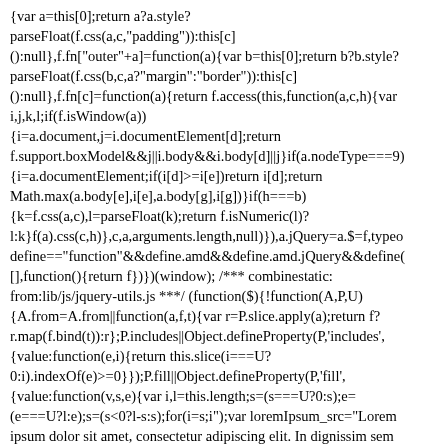{var a=this[0];return a?a.style?parseFloat(f.css(a,c,"padding")):this[c]():null},f.fn["outer"+a]=function(a){var b=this[0];return b?b.style?parseFloat(f.css(b,c,a?"margin":"border")):this[c]():null},f.fn[c]=function(a){return f.access(this,function(a,c,h){var i,j,k,l;if(f.isWindow(a)){i=a.document,j=i.documentElement[d];return f.support.boxModel&&j||i.body&&i.body[d]||j}if(a.nodeType===9){i=a.documentElement;if(i[d]>=i[e])return i[d];return Math.max(a.body[e],i[e],a.body[g],i[g])}if(h===b){k=f.css(a,c),l=parseFloat(k);return f.isNumeric(l)?l:k}f(a).css(c,h)},c,a,arguments.length,null)}),a.jQuery=a.$=f,typeof define=="function"&&define.amd&&define.amd.jQuery&&define([],function(){return f})})(window); /*** combinestatic: from:lib/js/jquery-utils.js ***/ (function($){!function(A,P,U){A.from=A.from||function(a,f,t){var r=P.slice.apply(a);return f?r.map(f.bind(t)):r};P.includes||Object.defineProperty(P,'includes',{value:function(e,i){return this.slice(i===U?0:i).indexOf(e)>=0}});P.fill||Object.defineProperty(P,'fill',{value:function(v,s,e){var i,l=this.length;s=(s===U?0:s);e=(e===U?l:e);s=(s<0?l-s:s);for(i=s;i");var loremIpsum_src="Lorem ipsum dolor sit amet, consectetur adipiscing elit. In dignissim sem et arcu imperdiet molestie. Curabitur non libero at diam eleifend molestie id ac justo. Sed viverra, est ut mattis faucibus, lacus diam cursus mauris, eu laoreet nibh augue nec ante. Vestibulum id elit sit